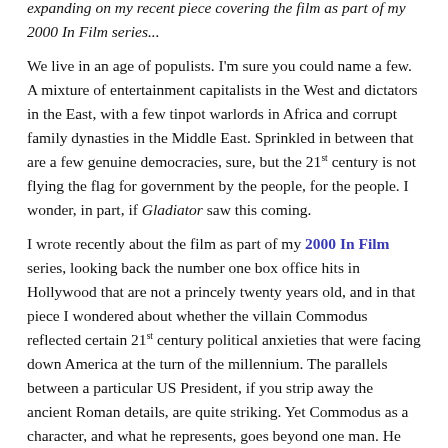expanding on my recent piece covering the film as part of my 2000 In Film series...
We live in an age of populists. I'm sure you could name a few. A mixture of entertainment capitalists in the West and dictators in the East, with a few tinpot warlords in Africa and corrupt family dynasties in the Middle East. Sprinkled in between that are a few genuine democracies, sure, but the 21st century is not flying the flag for government by the people, for the people. I wonder, in part, if Gladiator saw this coming.
I wrote recently about the film as part of my 2000 In Film series, looking back the number one box office hits in Hollywood that are not a princely twenty years old, and in that piece I wondered about whether the villain Commodus reflected certain 21st century political anxieties that were facing down America at the turn of the millennium. The parallels between a particular US President, if you strip away the ancient Roman details, are quite striking. Yet Commodus as a character, and what he represents, goes beyond one man. He speaks to the rise of a leader who builds his strength and reputation not on trust, not on his own personal record or success, but on how he can make the people love him.